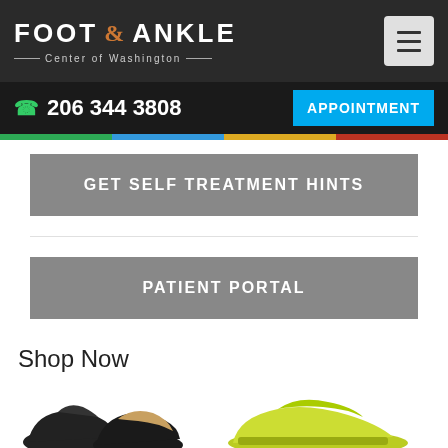FOOT & ANKLE Center of Washington
☎ 206 344 3808
APPOINTMENT
GET SELF TREATMENT HINTS
PATIENT PORTAL
Shop Now
[Figure (photo): Product images showing shoes/footwear items at the bottom of the page]